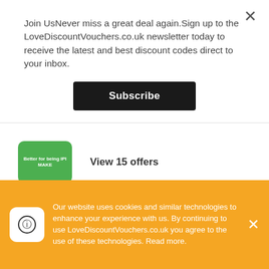Join UsNever miss a great deal again.Sign up to the LoveDiscountVouchers.co.uk newsletter today to receive the latest and best discount codes direct to your inbox.
Subscribe
[Figure (logo): Green store logo with white text]
View 15 offers
[Figure (logo): Agora logo with green italic text on white background]
AGORA
View 5 offers
[Figure (logo): Spectrum Collections logo on pink background with lightbulb illustration]
Spectrum Collections
Our website uses cookies and similar technologies to enhance your experience with us. By continuing to use LoveDiscountVouchers.co.uk you agree to the use of these technologies. Read more.